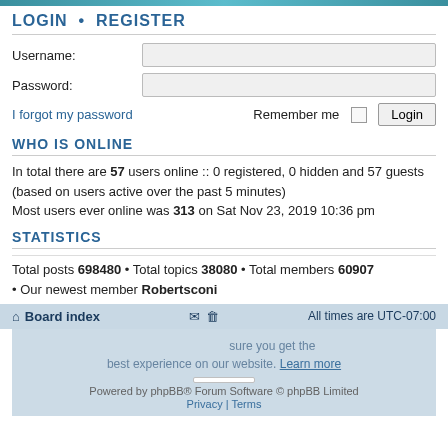LOGIN • REGISTER
Username:
Password:
I forgot my password    Remember me  Login
WHO IS ONLINE
In total there are 57 users online :: 0 registered, 0 hidden and 57 guests (based on users active over the past 5 minutes)
Most users ever online was 313 on Sat Nov 23, 2019 10:36 pm
STATISTICS
Total posts 698480 • Total topics 38080 • Total members 60907 • Our newest member Robertsconi
Board index   All times are UTC-07:00
Powered by phpBB® Forum Software © phpBB Limited
Privacy | Terms